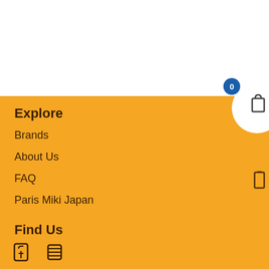Explore
Brands
About Us
FAQ
Paris Miki Japan
Find Us
[Figure (other): Social media icons (Facebook and another platform)]
KMC X10 X11 X12 10/11/12-Speed MTB Road Bike Chain 116 Link fit for